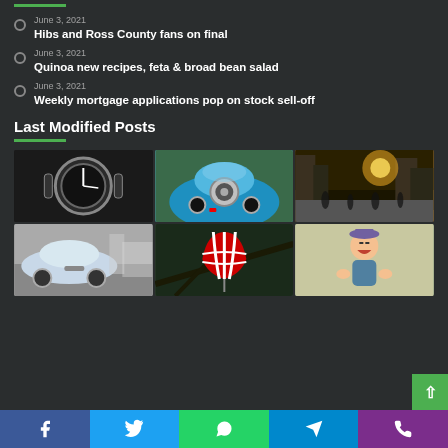June 3, 2021
Hibs and Ross County fans on final
June 3, 2021
Quinoa new recipes, feta & broad bean salad
June 3, 2021
Weekly mortgage applications pop on stock sell-off
Last Modified Posts
[Figure (photo): Grid of 6 photos: wristwatch close-up, blue classic car front, city street sunset, BMW on city street, colorful balloon ornament, toddler laughing]
Social share bar: Facebook, Twitter, WhatsApp, Telegram, Phone